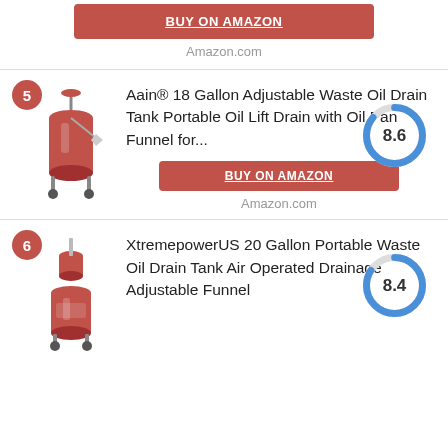BUY ON AMAZON
Amazon.com
5
Aain® 18 Gallon Adjustable Waste Oil Drain Tank Portable Oil Lift Drain with Oil Pan Funnel for...
[Figure (donut-chart): Score]
BUY ON AMAZON
Amazon.com
6
XtremepowerUS 20 Gallon Portable Waste Oil Drain Tank Air Operated Drainage Adjustable Funnel
[Figure (donut-chart): Score]